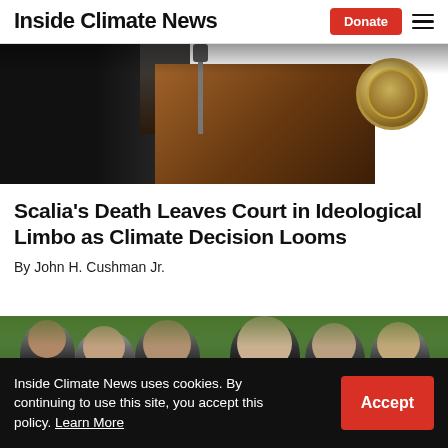Inside Climate News
[Figure (photo): Person in black robe at a wooden podium with an official seal, microphone visible]
Scalia’s Death Leaves Court in Ideological Limbo as Climate Decision Looms
By John H. Cushman Jr.
[Figure (photo): Group of men in suits gathered outdoors with green foliage in background]
Inside Climate News uses cookies. By continuing to use this site, you accept this policy. Learn More